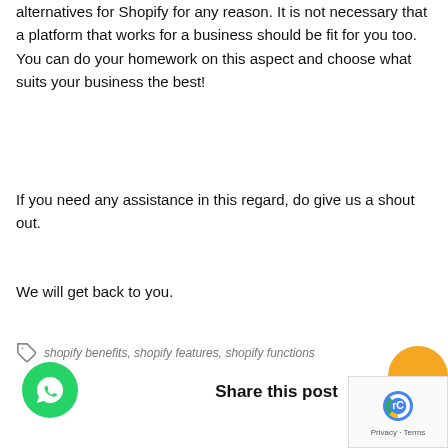alternatives for Shopify for any reason. It is not necessary that a platform that works for a business should be fit for you too. You can do your homework on this aspect and choose what suits your business the best!
If you need any assistance in this regard, do give us a shout out.
We will get back to you.
shopify benefits, shopify features, shopify functions
Share this post